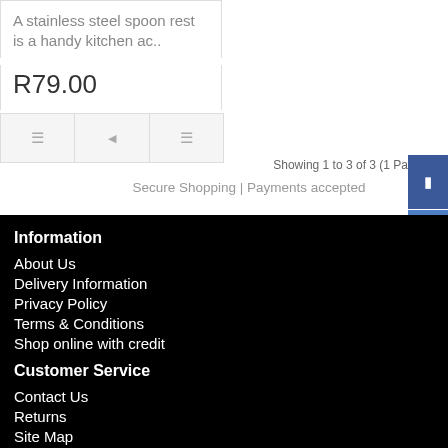A stainless steel spoon rest is a handy kitchen ac..
R79.00
Showing 1 to 3 of 3 (1 Pa
Secure Shopping | Payments accepted
Information
About Us
Delivery Information
Privacy Policy
Terms & Conditions
Shop online with credit
Customer Service
Contact Us
Returns
Site Map
Extras